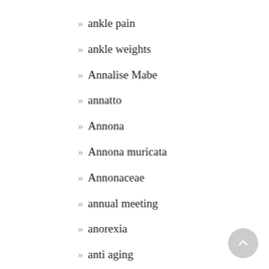ankle pain
ankle weights
Annalise Mabe
annatto
Annona
Annona muricata
Annonaceae
annual meeting
anorexia
anti aging
anti aging home remedies
anti flea plants